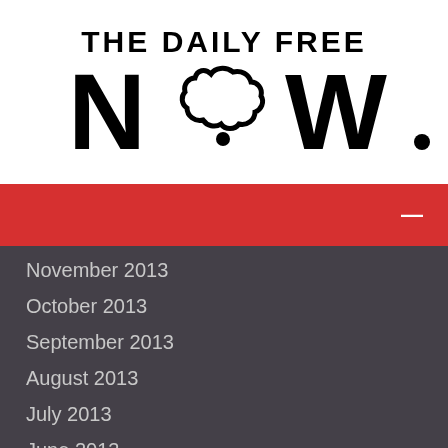[Figure (logo): The Daily Free Now logo with bold 'THE DAILY FREE' text above a large 'NOW' where the O is replaced by a cloud/thought-bubble shape]
November 2013
October 2013
September 2013
August 2013
July 2013
June 2013